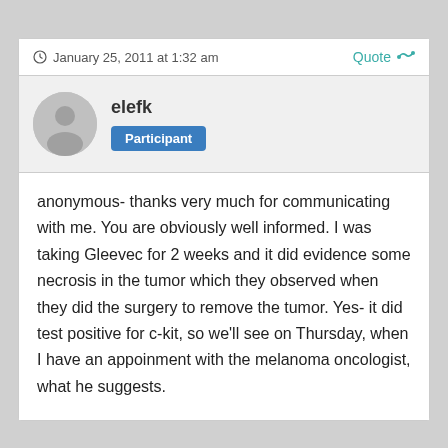January 25, 2011 at 1:32 am
Quote
elefk
Participant
anonymous- thanks very much for communicating with me. You are obviously well informed. I was taking Gleevec for 2 weeks and it did evidence some necrosis in the tumor which they observed when they did the surgery to remove the tumor. Yes- it did test positive for c-kit, so we'll see on Thursday, when I have an appoinment with the melanoma oncologist, what he suggests.